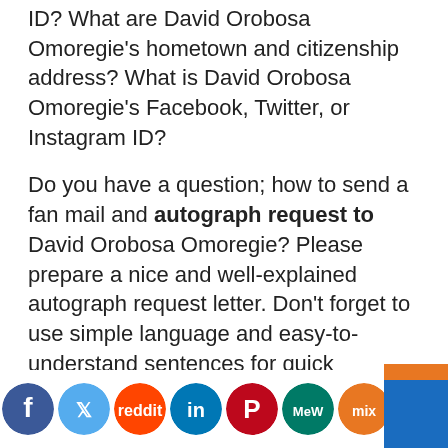ID? What are David Orobosa Omoregie's hometown and citizenship address? What is David Orobosa Omoregie's Facebook, Twitter, or Instagram ID?
Do you have a question; how to send a fan mail and autograph request to David Orobosa Omoregie? Please prepare a nice and well-explained autograph request letter. Don't forget to use simple language and easy-to-understand sentences for quick understanding.
Find out all these things in our article below…
Today I will tell you about HOW TO CONTACT DAVID OROBOSA OMOREGIE?
[Figure (infographic): Social media share buttons: Facebook, Twitter, Reddit, LinkedIn, Pinterest, MeWe, Mix, WhatsApp, More]